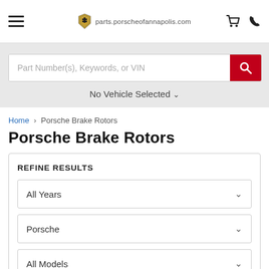parts.porscheofannapolis.com
Part Number(s), Keywords, or VIN
No Vehicle Selected
Home > Porsche Brake Rotors
Porsche Brake Rotors
REFINE RESULTS
All Years
Porsche
All Models